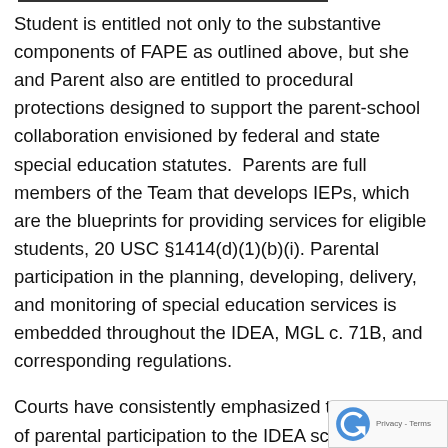Student is entitled not only to the substantive components of FAPE as outlined above, but she and Parent also are entitled to procedural protections designed to support the parent-school collaboration envisioned by federal and state special education statutes. Parents are full members of the Team that develops IEPs, which are the blueprints for providing services for eligible students, 20 USC §1414(d)(1)(b)(i). Parental participation in the planning, developing, delivery, and monitoring of special education services is embedded throughout the IDEA, MGL c. 71B, and corresponding regulations.
Courts have consistently emphasized the centrality of parental participation to the IDEA scheme. In Rowley, supra, the Supreme Court stated "…Congress placed bit as much emphasis upon compliance with proce giving parents and guardians a large measure of